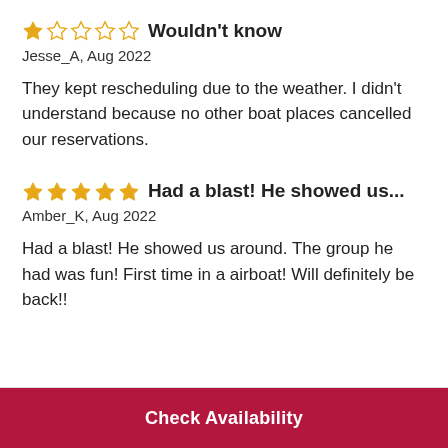★☆☆☆☆ Wouldn't know
Jesse_A, Aug 2022
They kept rescheduling due to the weather. I didn't understand because no other boat places cancelled our reservations.
★★★★★ Had a blast! He showed us...
Amber_K, Aug 2022
Had a blast! He showed us around. The group he had was fun! First time in a airboat! Will definitely be back!!
Check Availability